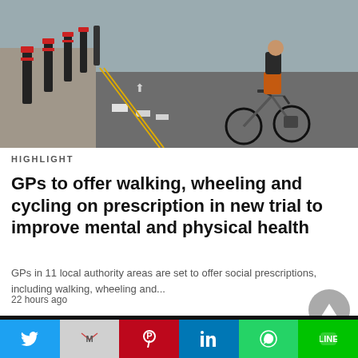[Figure (photo): A cyclist riding along a city street with black bollards lining the road, a cycle lane marking visible on the asphalt, wearing orange shorts and a dark top.]
HIGHLIGHT
GPs to offer walking, wheeling and cycling on prescription in new trial to improve mental and physical health
GPs in 11 local authority areas are set to offer social prescriptions, including walking, wheeling and...
22 hours ago
[Figure (photo): Dark image showing a partial white arch/logo on a black background.]
[Figure (screenshot): Social media sharing toolbar with icons for Twitter, Gmail, Pinterest, LinkedIn, WhatsApp, and LINE.]